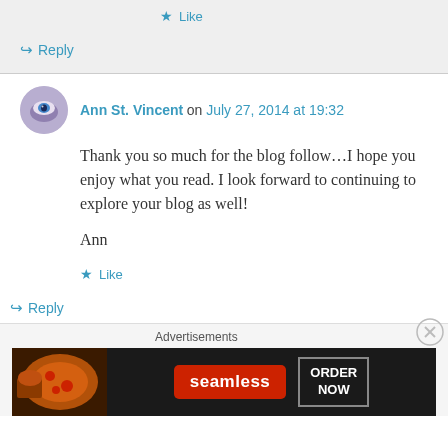★ Like
↪ Reply
Ann St. Vincent on July 27, 2014 at 19:32
Thank you so much for the blog follow...I hope you enjoy what you read. I look forward to continuing to explore your blog as well!

Ann
★ Like
↪ Reply
Advertisements
[Figure (screenshot): Seamless food delivery advertisement banner showing pizza and 'ORDER NOW' button]